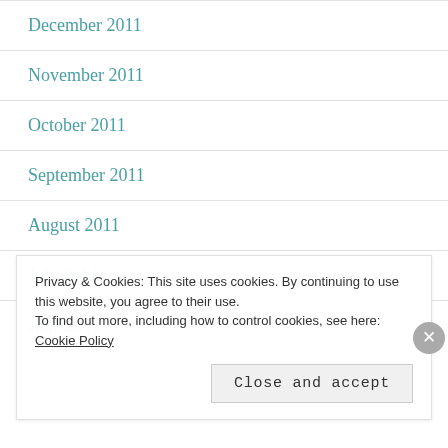December 2011
November 2011
October 2011
September 2011
August 2011
July 2011
June 2011
Privacy & Cookies: This site uses cookies. By continuing to use this website, you agree to their use. To find out more, including how to control cookies, see here: Cookie Policy
Close and accept